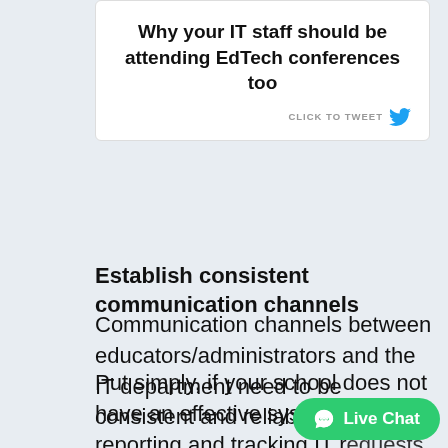[Figure (screenshot): Tweet quote box with text 'Why your IT staff should be attending EdTech conferences too' and a 'CLICK TO TWEET' button with Twitter bird icon]
Establish consistent communication channels
Communication channels between educators/administrators and the IT department need to be consistent and reliable.
Put simply, if your school does not have an effective system for reporting and tracking IT requests, then it should. Educators and administrators need to be confident